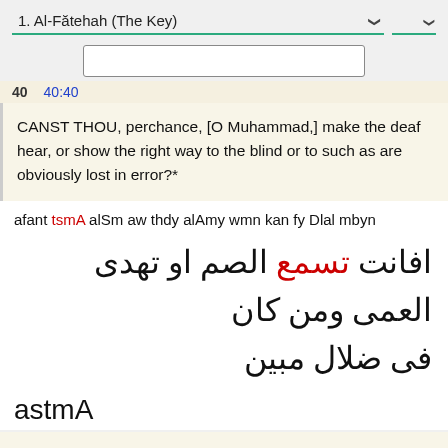1. Al-Fătehah (The Key)
CANST THOU, perchance, [O Muhammad,] make the deaf hear, or show the right way to the blind or to such as are obviously lost in error?*
afant tsmA alSm aw thdy alAmy wmn kan fy Dlal mbyn
افانت تسمع الصم او تهدى العمى ومن كان فى ضلال مبين
astmA